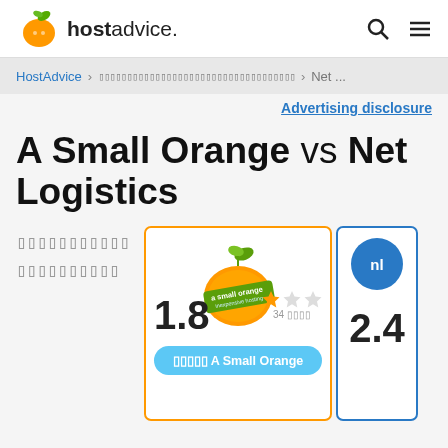[Figure (logo): HostAdvice logo with orange mascot and bold text 'hostadvice.']
hostadvice. [search icon] [menu icon]
HostAdvice > [garbled text] > Net ...
Advertising disclosure
A Small Orange vs Net Logistics
[garbled text block]
[Figure (logo): A Small Orange hosting logo - orange with green leaf]
1.8 [1 star out of 3 stars shown] 34 [unit]
[garbled] A Small Orange
nl [badge] 2.4